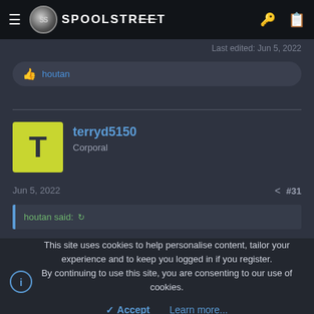SPOOLSTREET
Last edited: Jun 5, 2022
houtan
terryd5150
Corporal
Jun 5, 2022  #31
houtan said:
This site uses cookies to help personalise content, tailor your experience and to keep you logged in if you register.
By continuing to use this site, you are consenting to our use of cookies.
Accept   Learn more...